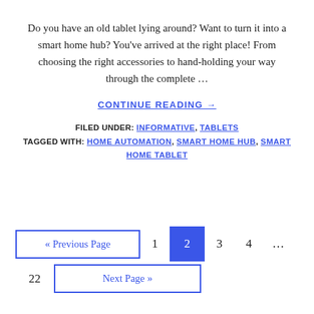Do you have an old tablet lying around? Want to turn it into a smart home hub? You've arrived at the right place! From choosing the right accessories to hand-holding your way through the complete …
CONTINUE READING →
FILED UNDER: INFORMATIVE, TABLETS TAGGED WITH: HOME AUTOMATION, SMART HOME HUB, SMART HOME TABLET
« Previous Page  1  2  3  4  …  22  Next Page »